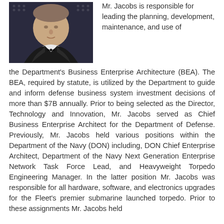[Figure (photo): Headshot photo of Mr. Jacobs in formal attire (black tuxedo and bow tie) against a dark background with dot pattern at top]
Mr. Jacobs is responsible for leading the planning, development, maintenance, and use of the Department's Business Enterprise Architecture (BEA). The BEA, required by statute, is utilized by the Department to guide and inform defense business system investment decisions of more than $7B annually. Prior to being selected as the Director, Technology and Innovation, Mr. Jacobs served as Chief Business Enterprise Architect for the Department of Defense. Previously, Mr. Jacobs held various positions within the Department of the Navy (DON) including, DON Chief Enterprise Architect, Department of the Navy Next Generation Enterprise Network Task Force Lead, and Heavyweight Torpedo Engineering Manager. In the latter position Mr. Jacobs was responsible for all hardware, software, and electronics upgrades for the Fleet's premier submarine launched torpedo. Prior to these assignments Mr. Jacobs held